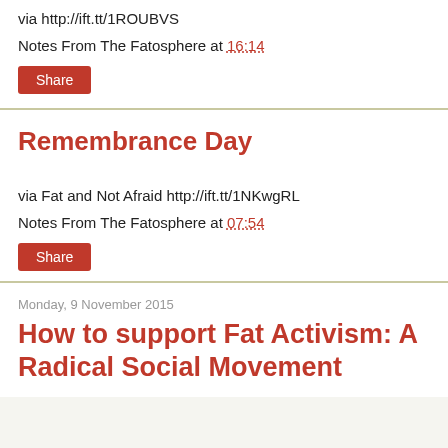via http://ift.tt/1ROUBVS
Notes From The Fatosphere at 16:14
Share
Remembrance Day
via Fat and Not Afraid http://ift.tt/1NKwgRL
Notes From The Fatosphere at 07:54
Share
Monday, 9 November 2015
How to support Fat Activism: A Radical Social Movement